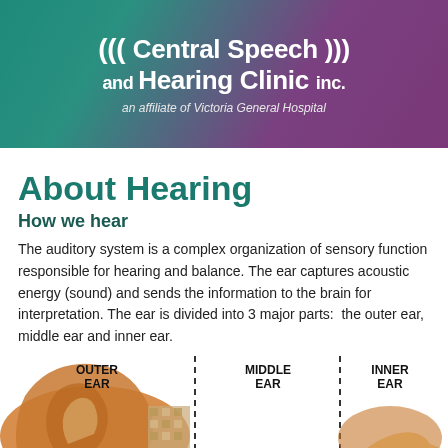((( Central Speech ))) and Hearing Clinic inc. an affiliate of Victoria General Hospital
About Hearing
How we hear
The auditory system is a complex organization of sensory function responsible for hearing and balance. The ear captures acoustic energy (sound) and sends the information to the brain for interpretation. The ear is divided into 3 major parts:  the outer ear, middle ear and inner ear.
[Figure (illustration): Anatomical cross-section diagram of the human ear showing OUTER EAR, MIDDLE EAR, and INNER EAR sections separated by dashed vertical lines, with a golden/tan colored ear illustration on the left side.]